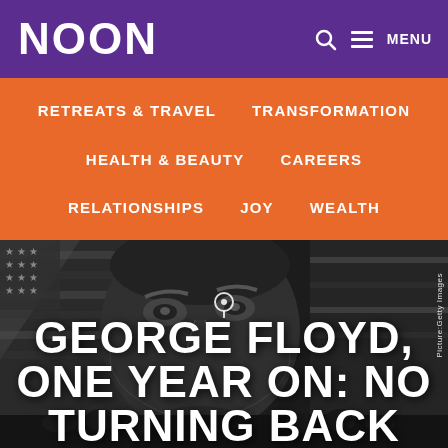NOON
RETREATS & TRAVEL
TRANSFORMATION
HEALTH & BEAUTY
CAREERS
RELATIONSHIPS
JOY
WEALTH
[Figure (photo): Black and white photo of a mural depicting George Floyd's face with an American flag in the background. Crowds visible at the bottom.]
Picture:Getty Images
GEORGE FLOYD, ONE YEAR ON: NO TURNING BACK